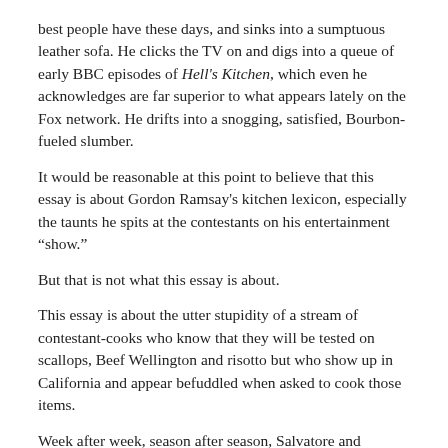best people have these days, and sinks into a sumptuous leather sofa. He clicks the TV on and digs into a queue of early BBC episodes of Hell's Kitchen, which even he acknowledges are far superior to what appears lately on the Fox network. He drifts into a snogging, satisfied, Bourbon-fueled slumber.
It would be reasonable at this point to believe that this essay is about Gordon Ramsay's kitchen lexicon, especially the taunts he spits at the contestants on his entertainment “show.”
But that is not what this essay is about.
This essay is about the utter stupidity of a stream of contestant-cooks who know that they will be tested on scallops, Beef Wellington and risotto but who show up in California and appear befuddled when asked to cook those items.
Week after week, season after season, Salvatore and Samantha stare at scallops blankly, as if they were golf balls that had been run over by a steamroller.
“Scallops, eh? So– that’s a fish?”